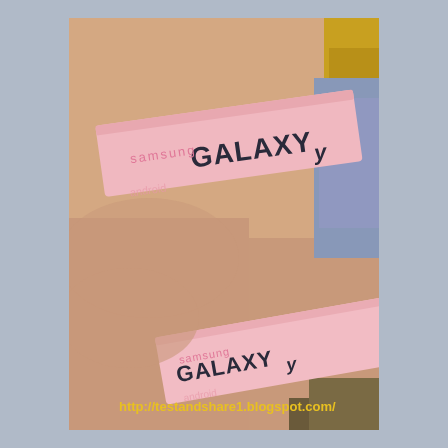[Figure (photo): Two pink Samsung Galaxy Y wristbands/armbands worn on wrists. The bands are pink rubber with 'GALAXY y' printed in dark text and additional pink text. A URL watermark appears at the bottom of the photo.]
http://testandshare1.blogspot.com/